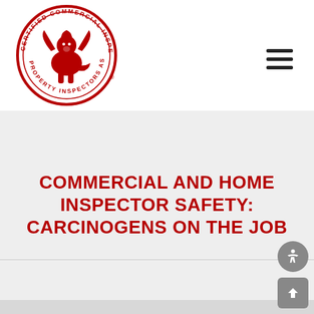[Figure (logo): Certified Commercial Property Inspectors Association circular logo with a red griffin/lion and text around the border]
COMMERCIAL AND HOME INSPECTOR SAFETY: CARCINOGENS ON THE JOB